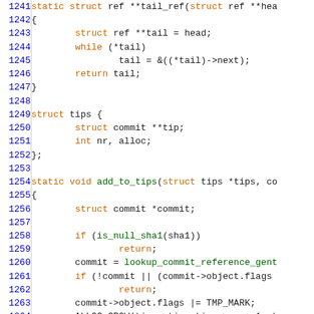[Figure (screenshot): Source code listing in C showing functions tail_ref, struct tips, add_to_tips, and beginning of add_missing_tags, with syntax highlighting: line numbers in blue, keywords in orange, function names in green, regular code in dark/black. Lines 1241-1270.]